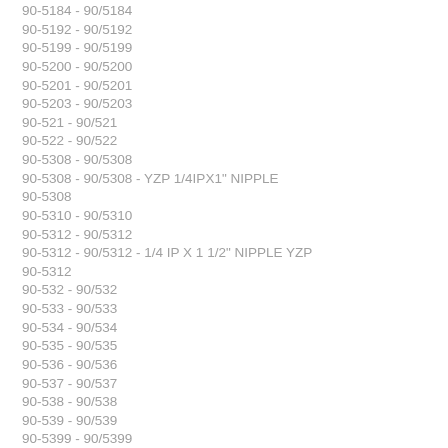90-5184 - 90/5184
90-5192 - 90/5192
90-5199 - 90/5199
90-5200 - 90/5200
90-5201 - 90/5201
90-5203 - 90/5203
90-521 - 90/521
90-522 - 90/522
90-5308 - 90/5308
90-5308 - 90/5308 - YZP 1/4IPX1" NIPPLE
90-5308
90-5310 - 90/5310
90-5312 - 90/5312
90-5312 - 90/5312 - 1/4 IP X 1 1/2" NIPPLE YZP
90-5312
90-532 - 90/532
90-533 - 90/533
90-534 - 90/534
90-535 - 90/535
90-536 - 90/536
90-537 - 90/537
90-538 - 90/538
90-539 - 90/539
90-5399 - 90/5399